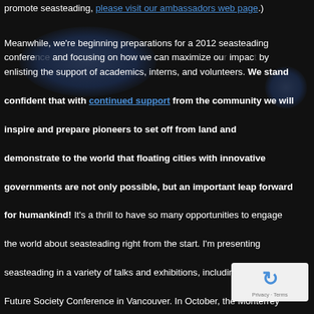promote seasteading, please visit our ambassadors web page.)
Meanwhile, we're beginning preparations for a 2012 seasteading conference and focusing on how we can maximize our impact by enlisting the support of academics, interns, and volunteers. We stand confident that with continued support from the community we will inspire and prepare pioneers to set off from land and demonstrate to the world that floating cities with innovative governments are not only possible, but an important leap forward for humankind! It's a thrill to have so many opportunities to engage the world about seasteading right from the start. I'm presenting seasteading in a variety of talks and exhibitions, including the World Future Society Conference in Vancouver. In October, the Monterrey Institute in Guadalajara, Mexico, will sponsor a lecture, after which students working in small teams will develop proposals for sim...